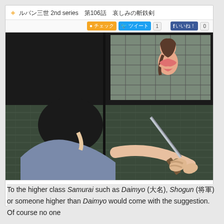[Figure (screenshot): Screenshot of a Japanese website showing a Lupin III 2nd series anime episode page. Header shows: ＋ ルパン三世 2nd series 第106話　哀しみの斬鉄剣. Social sharing buttons for Check, Tweet (1), and いいね! (0). Below is an anime screenshot showing a samurai character holding a sword in foreground with a woman visible through a shoji screen window in the background.]
http://rocketnews24.com/2012/06/19/222600/
To the higher class Samurai such as Daimyo (大名), Shogun (将軍) or someone higher than Daimyo would come with the suggestion. Of course no one